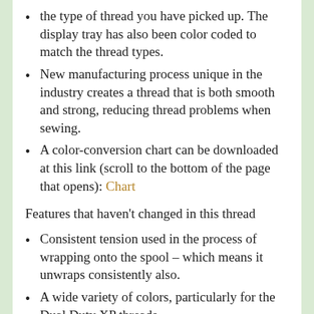the type of thread you have picked up. The display tray has also been color coded to match the thread types.
New manufacturing process unique in the industry creates a thread that is both smooth and strong, reducing thread problems when sewing.
A color-conversion chart can be downloaded at this link (scroll to the bottom of the page that opens): Chart
Features that haven’t changed in this thread
Consistent tension used in the process of wrapping onto the spool – which means it unwraps consistently also.
A wide variety of colors, particularly for the Dual Duty XP threads.
100% Cotton threads available in some styles